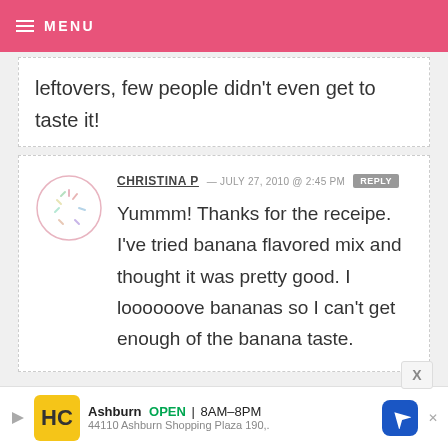MENU
leftovers, few people didn't even get to taste it!
CHRISTINA P — JULY 27, 2010 @ 2:45 PM REPLY
Yummm! Thanks for the receipe. I've tried banana flavored mix and thought it was pretty good. I loooooove bananas so I can't get enough of the banana taste.
Ashburn OPEN 8AM–8PM 44110 Ashburn Shopping Plaza 190,.